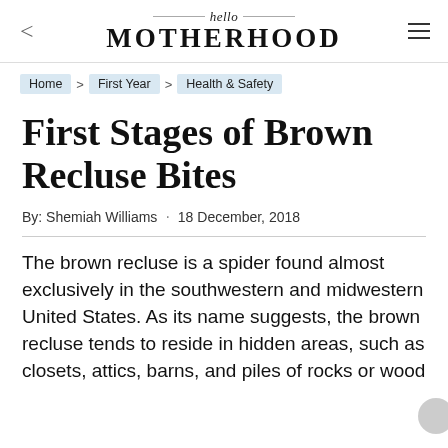hello MOTHERHOOD
Home > First Year > Health & Safety
First Stages of Brown Recluse Bites
By: Shemiah Williams · 18 December, 2018
The brown recluse is a spider found almost exclusively in the southwestern and midwestern United States. As its name suggests, the brown recluse tends to reside in hidden areas, such as closets, attics, barns, and piles of rocks or wood